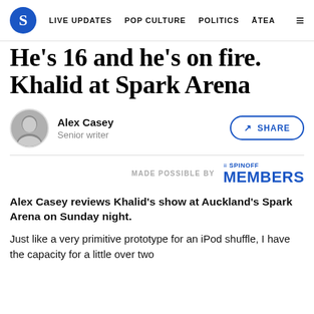S  LIVE UPDATES  POP CULTURE  POLITICS  ĀTEA  ☰
He's 16 and he's on fire. Khalid at Spark Arena
Alex Casey
Senior writer
SHARE
MADE POSSIBLE BY  THE SPINOFF MEMBERS
Alex Casey reviews Khalid's show at Auckland's Spark Arena on Sunday night.
Just like a very primitive prototype for an iPod shuffle, I have the capacity for a little over two